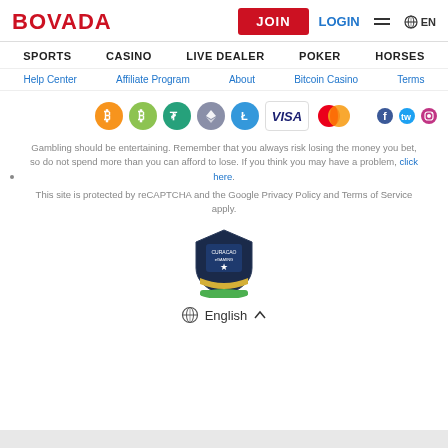BOVADA | JOIN | LOGIN | EN
SPORTS | CASINO | LIVE DEALER | POKER | HORSES
Help Center | Affiliate Program | About | Bitcoin Casino | Terms
[Figure (logo): Payment method icons: Bitcoin, Bitcoin Cash, Tether, Ethereum, Litecoin, Visa, Mastercard, and social media icons]
Gambling should be entertaining. Remember that you always risk losing the money you bet, so do not spend more than you can afford to lose. If you think you may have a problem, click here.
This site is protected by reCAPTCHA and the Google Privacy Policy and Terms of Service apply.
[Figure (logo): Curacao eGaming / Gaming license badge shield logo]
English ^